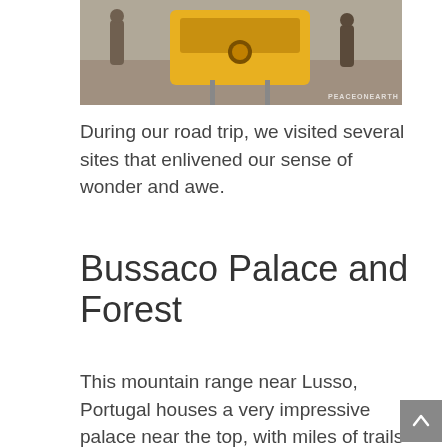[Figure (photo): A yellow tram on cobblestone tracks with people around it, watermark reading PEACEONE ARTH in the bottom right]
During our road trip, we visited several sites that enlivened our sense of wonder and awe.
Bussaco Palace and Forest
This mountain range near Lusso, Portugal houses a very impressive palace near the top, with miles of trails through mossy forests, picnic areas, ponds, lookout points, and more.